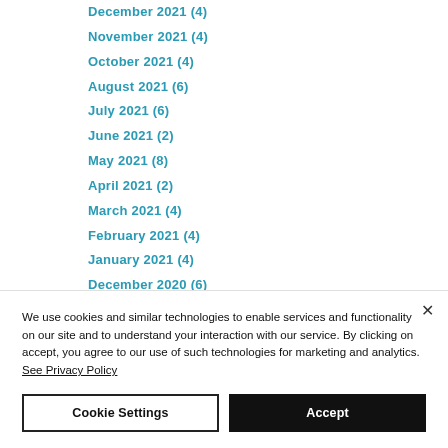December 2021 (4)
November 2021 (4)
October 2021 (4)
August 2021 (6)
July 2021 (6)
June 2021 (2)
May 2021 (8)
April 2021 (2)
March 2021 (4)
February 2021 (4)
January 2021 (4)
December 2020 (6)
November 2020 (6)
We use cookies and similar technologies to enable services and functionality on our site and to understand your interaction with our service. By clicking on accept, you agree to our use of such technologies for marketing and analytics. See Privacy Policy